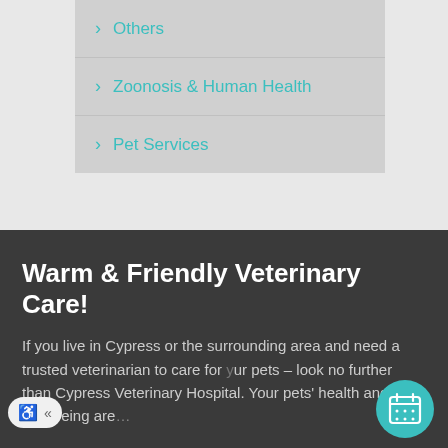Others
Zoonosis & Human Health
Pet Services
Warm & Friendly Veterinary Care!
If you live in Cypress or the surrounding area and need a trusted veterinarian to care for ur pets – look no further than Cypress Veterinary Hospital. Your pets' health and well-being are